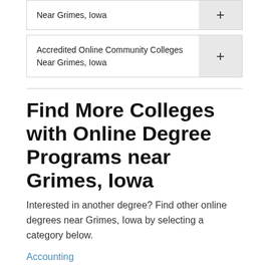Near Grimes, Iowa
Accredited Online Community Colleges Near Grimes, Iowa
Find More Colleges with Online Degree Programs near Grimes, Iowa
Interested in another degree? Find other online degrees near Grimes, Iowa by selecting a category below.
Accounting